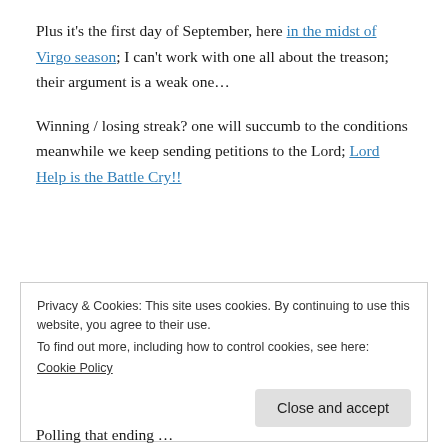Plus it's the first day of September, here in the midst of Virgo season; I can't work with one all about the treason; their argument is a weak one...
Winning / losing streak? one will succumb to the conditions meanwhile we keep sending petitions to the Lord; Lord Help is the Battle Cry!!
Privacy & Cookies: This site uses cookies. By continuing to use this website, you agree to their use.
To find out more, including how to control cookies, see here: Cookie Policy
Polling that ending ...